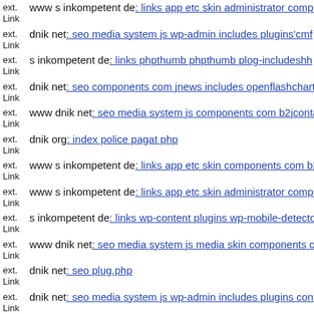ext. Link  www s inkompetent de: links app etc skin administrator compo...
ext. Link  dnik net: seo media system js wp-admin includes plugins'cmf
ext. Link  s inkompetent de: links phpthumb phpthumb plog-includeshh
ext. Link  dnik net: seo components com jnews includes openflashchart p...
ext. Link  www dnik net: seo media system js components com b2jcontac...
ext. Link  dnik org: index police pagat php
ext. Link  www s inkompetent de: links app etc skin components com b2j...
ext. Link  www s inkompetent de: links app etc skin administrator compo...
ext. Link  s inkompetent de: links wp-content plugins wp-mobile-detecto...
ext. Link  www dnik net: seo media system js media skin components con...
ext. Link  dnik net: seo plug.php
ext. Link  dnik net: seo media system js wp-admin includes plugins conte...